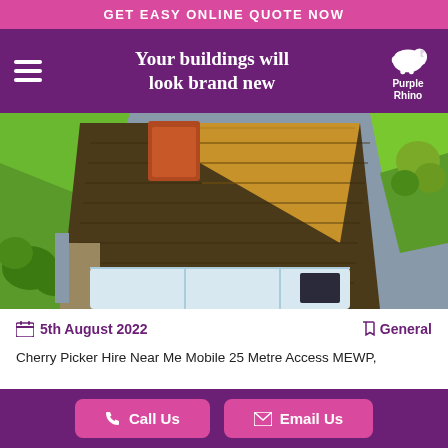GET EASY ONLINE QUOTE NOW
Your buildings will look brand new
[Figure (photo): Aerial drone photograph looking down at a residential property rooftop showing tiled roof sections in dark and golden-yellow tones, surrounded by green garden hedges and lawns, with a conservatory/greenhouse visible at the bottom.]
5th August 2022
General
Cherry Picker Hire Near Me Mobile 25 Metre Access MEWP,
Call Us   Email Us